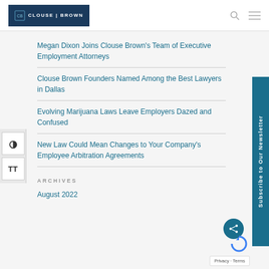[Figure (logo): Clouse Brown law firm logo with white text on dark navy background]
Megan Dixon Joins Clouse Brown's Team of Executive Employment Attorneys
Clouse Brown Founders Named Among the Best Lawyers in Dallas
Evolving Marijuana Laws Leave Employers Dazed and Confused
New Law Could Mean Changes to Your Company's Employee Arbitration Agreements
ARCHIVES
August 2022